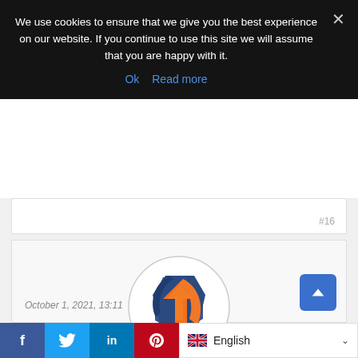We use cookies to ensure that we give you the best experience on our website. If you continue to use this site we will assume that you are happy with it.
Ok   Read more
#16
[Figure (logo): ASIXON company logo inside a circle — a dark blue geometric hexagon shape overlapping with an orange arrow/swoosh element]
ASIXON
(@asixon)
October 1, 2021, 13:11